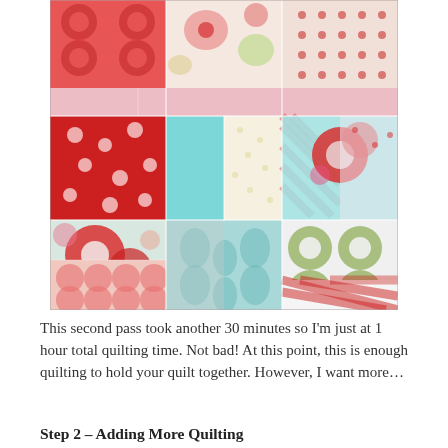[Figure (photo): A colorful patchwork quilt with various fabric patterns including red florals, houndstooth in red/white and aqua/white, geometric circles, polka dots, and mixed prints. The top portion shows a pink ruffled border. The quilt blocks are arranged in a grid pattern.]
This second pass took another 30 minutes so I'm just at 1 hour total quilting time. Not bad! At this point, this is enough quilting to hold your quilt together. However, I want more…
Step 2 – Adding More Quilting